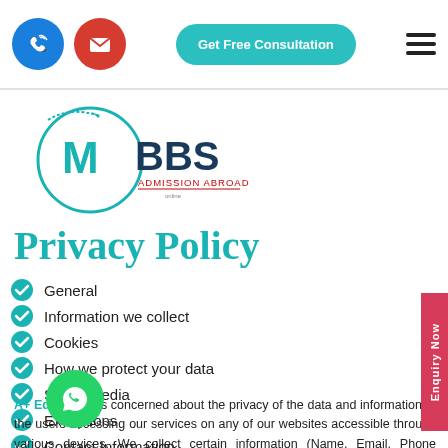Get Free Consultation
[Figure (logo): MBBS Admission Abroad logo with airplane and stethoscope icon, teal and dark blue colors]
Privacy Policy
General
Information we collect
Cookies
How we protect your data
Social Media
Exceptions
Contact Information
A+ Education is concerned about the privacy of the data and information of the users accessing our services on any of our websites accessible through various devices. We collect certain information (Name, Email, Phone Number, & others useful